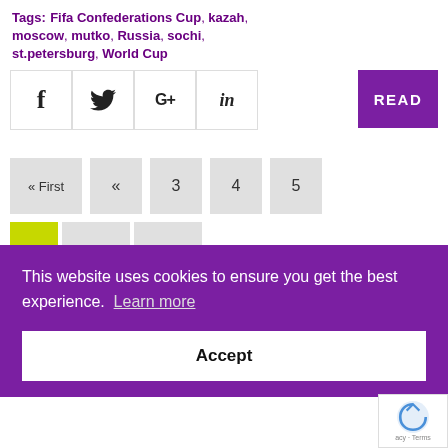Tags: Fifa Confederations Cup, kazah, moscow, mutko, Russia, sochi, st.petersburg, World Cup
[Figure (other): Social share buttons: Facebook (f), Twitter (bird icon), Google+ (G+), LinkedIn (in), and a purple READ button]
[Figure (other): Pagination navigation with buttons: « First, «, 3, 4, 5, and a green highlighted current page button with additional gray buttons]
This website uses cookies to ensure you get the best experience. Learn more
Accept